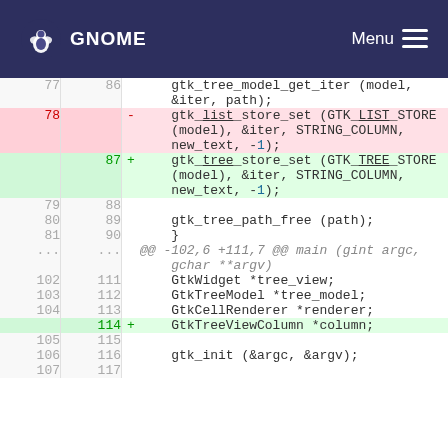GNOME   Menu
Code diff showing changes from gtk_list_store_set to gtk_tree_store_set and addition of GtkTreeViewColumn *column variable.
| old | new | +/- | code |
| --- | --- | --- | --- |
| 77 | 86 |  |     gtk_tree_model_get_iter (model, &iter, path); |
| 78 |  | - |     gtk_list_store_set (GTK_LIST_STORE (model), &iter, STRING_COLUMN, new_text, -1); |
|  | 87 | + |     gtk_tree_store_set (GTK_TREE_STORE (model), &iter, STRING_COLUMN, new_text, -1); |
| 79 | 88 |  |  |
| 80 | 89 |  |     gtk_tree_path_free (path); |
| 81 | 90 |  |     } |
| ... | ... |  | @@ -102,6 +111,7 @@ main (gint argc, gchar **argv) |
| 102 | 111 |  |     GtkWidget *tree_view; |
| 103 | 112 |  |     GtkTreeModel *tree_model; |
| 104 | 113 |  |     GtkCellRenderer *renderer; |
|  | 114 | + |     GtkTreeViewColumn *column; |
| 105 | 115 |  |  |
| 106 | 116 |  |     gtk_init (&argc, &argv); |
| 107 | 117 |  |  |